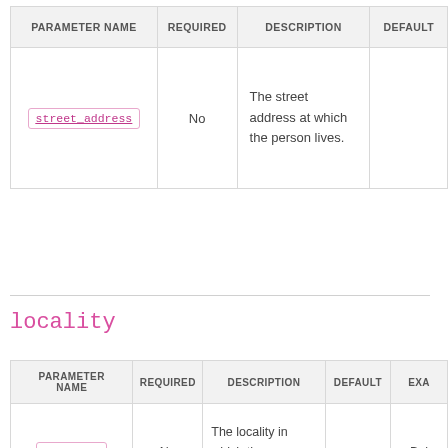| PARAMETER NAME | REQUIRED | DESCRIPTION | DEFAULT |
| --- | --- | --- | --- |
| street_address | No | The street address at which the person lives. |  |
locality
| PARAMETER NAME | REQUIRED | DESCRIPTION | DEFAULT | EXA... |
| --- | --- | --- | --- | --- |
| locality | No | The locality in which the person lives. |  | Boi... |